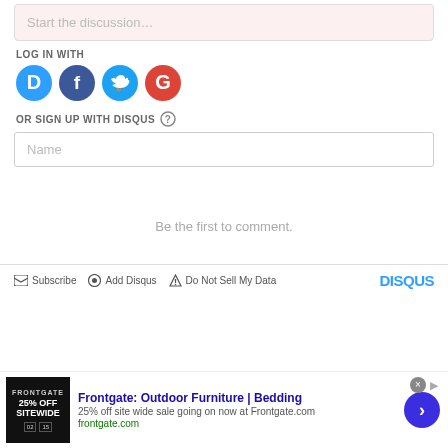Start the discussion…
LOG IN WITH
[Figure (logo): Social login icons: Disqus (blue D), Facebook (dark blue F), Twitter (light blue bird), Google (red G)]
OR SIGN UP WITH DISQUS ?
Name
Be the first to comment.
Subscribe   Add Disqus   Do Not Sell My Data   DISQUS
[Figure (screenshot): Advertisement banner: Frontgate: Outdoor Furniture | Bedding. 25% off site wide sale going on now at Frontgate.com. frontgate.com]